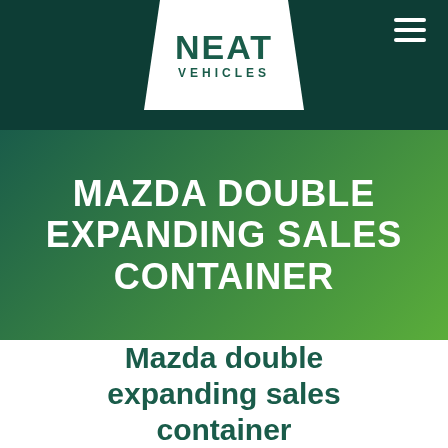[Figure (logo): NEAT VEHICLES logo — white parallelogram background on dark teal header bar, text 'NEAT' large above 'VEHICLES' smaller, both in teal color]
MAZDA DOUBLE EXPANDING SALES CONTAINER
Mazda double expanding sales container